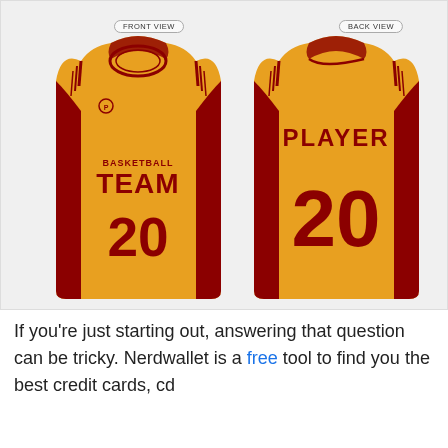[Figure (illustration): Two basketball jerseys shown side by side. Left jersey labeled FRONT VIEW shows a yellow/gold jersey with dark red trim, text 'BASKETBALL TEAM' and number '20'. Right jersey labeled BACK VIEW shows the same jersey from behind with 'PLAYER' and number '20' in dark red on gold background.]
If you're just starting out, answering that question can be tricky. Nerdwallet is a free tool to find you the best credit cards, cd